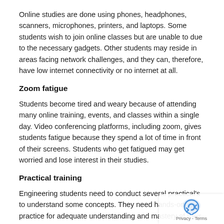Online studies are done using phones, headphones, scanners, microphones, printers, and laptops. Some students wish to join online classes but are unable to due to the necessary gadgets. Other students may reside in areas facing network challenges, and they can, therefore, have low internet connectivity or no internet at all.
Zoom fatigue
Students become tired and weary because of attending many online training, events, and classes within a single day. Video conferencing platforms, including zoom, gives students fatigue because they spend a lot of time in front of their screens. Students who get fatigued may get worried and lose interest in their studies.
Practical training
Engineering students need to conduct several practical's to understand some concepts. They need hands-on practice for adequate understanding and mastery of their work. The closure of schools has limited the practical part of students education. Some students find comprehending the theory